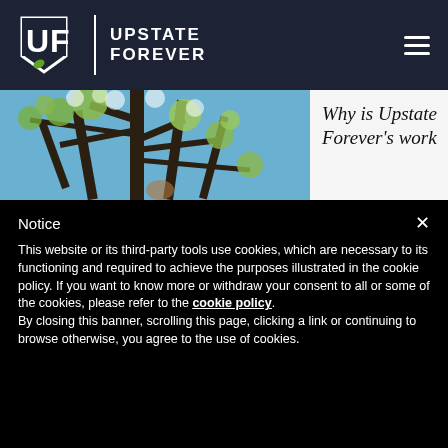UPSTATE FOREVER
[Figure (photo): Looking up into tree canopy with spring blossoms and blue sky]
Why is Upstate Forever's work
Notice
This website or its third-party tools use cookies, which are necessary to its functioning and required to achieve the purposes illustrated in the cookie policy. If you want to know more or withdraw your consent to all or some of the cookies, please refer to the cookie policy. By closing this banner, scrolling this page, clicking a link or continuing to browse otherwise, you agree to the use of cookies.